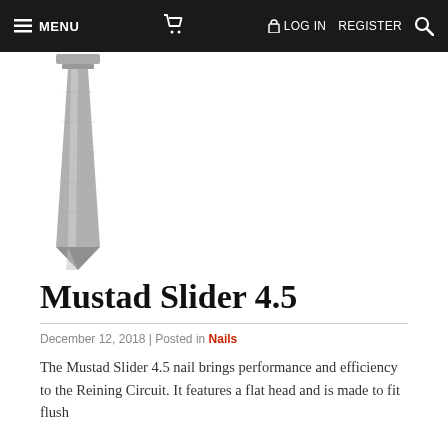MENU  [cart icon]  LOG IN  REGISTER  [search icon]
[Figure (photo): A Mustad Slider 4.5 horseshoe nail photographed against a white background, showing a long narrow tapered nail with a flat head at the top.]
Mustad Slider 4.5
December 12, 2018 | Posted in Nails
The Mustad Slider 4.5 nail brings performance and efficiency to the Reining Circuit. It features a flat head and is made to fit flush